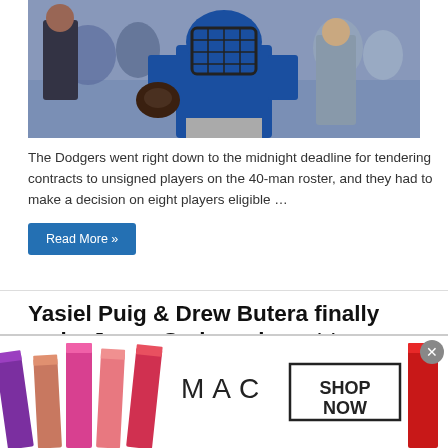[Figure (photo): Photo of a baseball catcher in a blue Dodgers uniform and catcher's mask, holding a glove, with crowd in background]
The Dodgers went right down to the midnight deadline for tendering contracts to unsigned players on the 40-man roster, and they had to make a decision on eight players eligible …
Read More »
Yasiel Puig & Drew Butera finally make Japan Series relevant to Dodgers fans
Chad Moriyama · 11/16/2014
[Figure (photo): MAC Cosmetics advertisement showing lipsticks in various shades with MAC logo and SHOP NOW box]